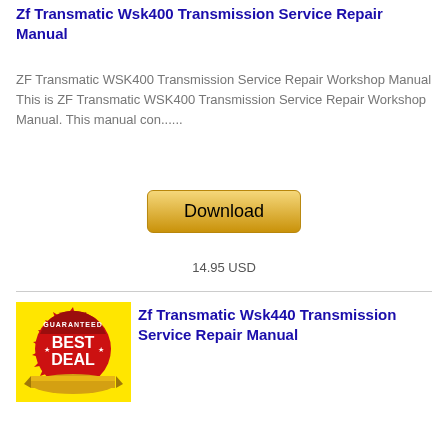Zf Transmatic Wsk400 Transmission Service Repair Manual
ZF Transmatic WSK400 Transmission Service Repair Workshop Manual This is ZF Transmatic WSK400 Transmission Service Repair Workshop Manual. This manual con......
[Figure (other): Download button — golden gradient button with text 'Download']
14.95 USD
[Figure (illustration): Best Deal guaranteed badge — red circular seal with gold ribbon and text BEST DEAL GUARANTEED on yellow background]
Zf Transmatic Wsk440 Transmission Service Repair Manual